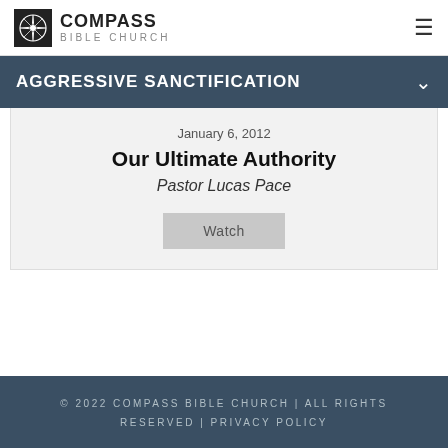COMPASS BIBLE CHURCH
AGGRESSIVE SANCTIFICATION
January 6, 2012
Our Ultimate Authority
Pastor Lucas Pace
Watch
© 2022 COMPASS BIBLE CHURCH | ALL RIGHTS RESERVED | PRIVACY POLICY